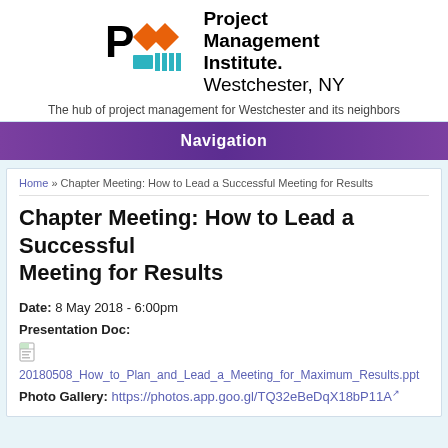[Figure (logo): Project Management Institute Westchester NY logo with PMI initials in orange/teal/black graphic and text]
The hub of project management for Westchester and its neighbors
Navigation
Home » Chapter Meeting: How to Lead a Successful Meeting for Results
Chapter Meeting: How to Lead a Successful Meeting for Results
Date: 8 May 2018 - 6:00pm
Presentation Doc:
20180508_How_to_Plan_and_Lead_a_Meeting_for_Maximum_Results.ppt
Photo Gallery: https://photos.app.goo.gl/TQ32eBeDqX18bP11A